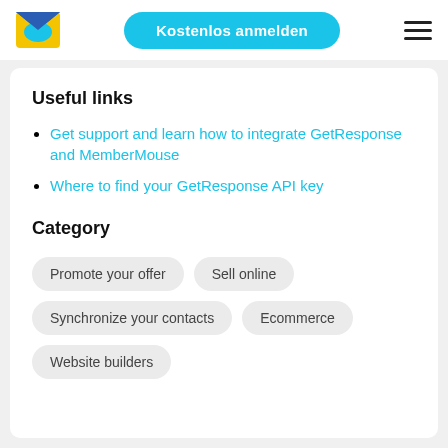Kostenlos anmelden
Useful links
Get support and learn how to integrate GetResponse and MemberMouse
Where to find your GetResponse API key
Category
Promote your offer
Sell online
Synchronize your contacts
Ecommerce
Website builders